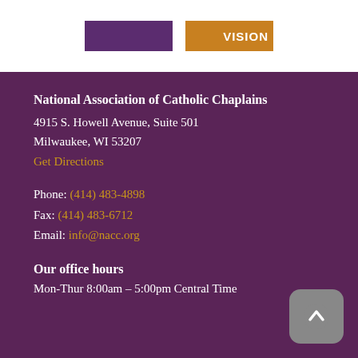[Figure (logo): Two logo images side by side at top of page — left one purple/dark, right one gold/orange with text VISION]
National Association of Catholic Chaplains
4915 S. Howell Avenue, Suite 501
Milwaukee, WI 53207
Get Directions
Phone: (414) 483-4898
Fax: (414) 483-6712
Email: info@nacc.org
Our office hours
Mon-Thur 8:00am – 5:00pm Central Time